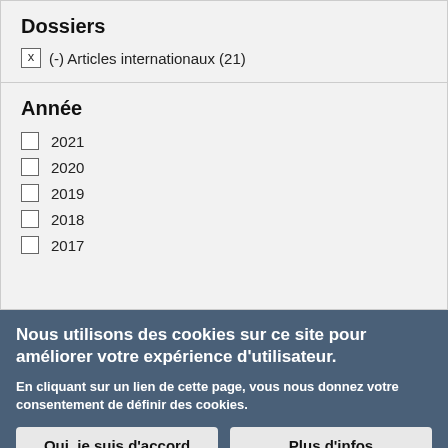Dossiers
x  (-) Articles internationaux (21)
Année
☐ 2021
☐ 2020
☐ 2019
☐ 2018
☐ 2017
Nous utilisons des cookies sur ce site pour améliorer votre expérience d'utilisateur.
En cliquant sur un lien de cette page, vous nous donnez votre consentement de définir des cookies.
Oui, je suis d'accord   Plus d'infos